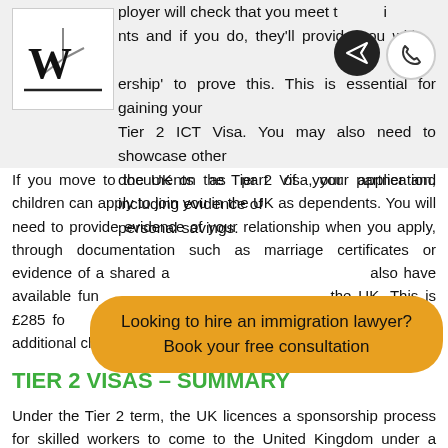ployer will check that you meet the eligibility requirements and if you do, they'll provide you with a 'Certificate of Sponsorship' to prove this. This is essential for gaining your Tier 2 ICT Visa. You may also need to showcase other documents as part of your application, including evidence of personal savings.
If you move to the UK on the Tier 2 Visa, your partner and children can apply to join you in the UK as dependents. You will need to provide evidence of your relationship when you apply, through documentation such as marriage certificates or evidence of a shared address. Your dependents will also have available funds to pay the NHS surcharge in the UK. This is £285 for your partner, £315 for one child and £200 for each additional child.
TIER 2 VISAS – SUMMARY
Under the Tier 2 term, the UK licences a sponsorship process for skilled workers to come to the United Kingdom under a range of subcategories. These are:
Tier 2 (General)